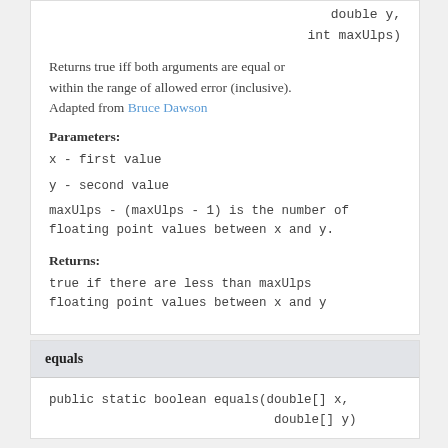double y,
    int maxUlps)
Returns true iff both arguments are equal or within the range of allowed error (inclusive). Adapted from Bruce Dawson
Parameters:
x - first value
y - second value
maxUlps - (maxUlps - 1) is the number of floating point values between x and y.
Returns:
true if there are less than maxUlps floating point values between x and y
equals
public static boolean equals(double[] x,
                           double[] y)